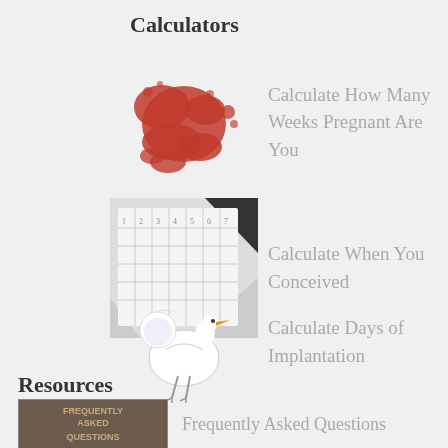Calculators
Calculate How Many Weeks Pregnant Are You
Calculate When You Conceived
Calculate Days of Implantation
Resources
Frequently Asked Questions